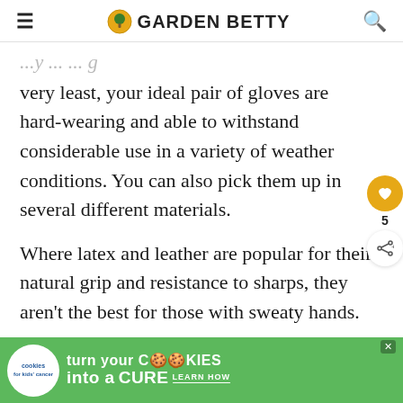GARDEN BETTY
very least, your ideal pair of gloves are hard-wearing and able to withstand considerable use in a variety of weather conditions. You can also pick them up in several different materials.
Where latex and leather are popular for their natural grip and resistance to sharps, they aren't the best for those with sweaty hands.
[Figure (screenshot): What's Next panel showing 'Lazy Gardening...' with a vegetable image]
[Figure (infographic): Advertisement banner: 'cookies for kids cancer - turn your COOKIES into a CURE LEARN HOW']
Ba... and...